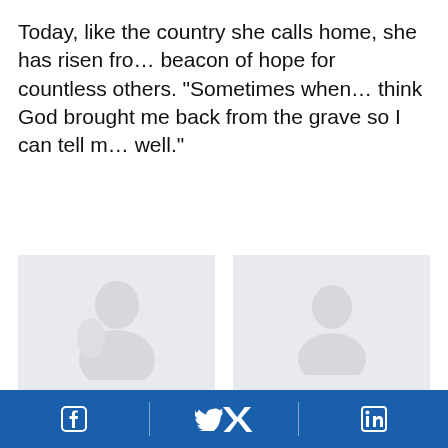Today, like the country she calls home, she has risen from the ashes to become a beacon of hope for countless others. “Sometimes when I look at myself, I think God brought me back from the grave so I can tell my story and help others do well.”
[Figure (photo): Photo of Thembi hugging her son History in front of their new home]
Thembi hugs her son, History, in front of the new home she has built for her family. Thanks to her adherence to HIV treatment, today,
[Figure (photo): Photo related to Eswatini serving as a beacon of hope for other countries]
Today, Eswatini, once a country on the brink of destruction from HIV, now serves as a beacon of hope for other countries.
Facebook Twitter LinkedIn